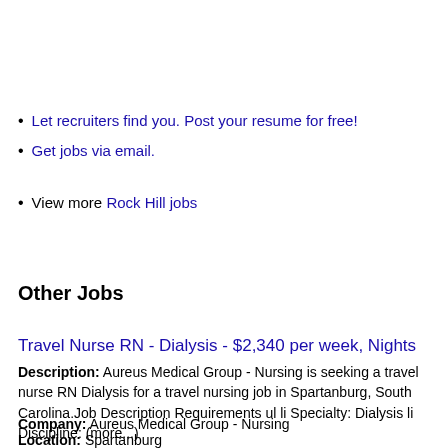Let recruiters find you. Post your resume for free!
Get jobs via email.
View more Rock Hill jobs
Other Jobs
Travel Nurse RN - Dialysis - $2,340 per week, Nights
Description: Aureus Medical Group - Nursing is seeking a travel nurse RN Dialysis for a travel nursing job in Spartanburg, South Carolina.Job Description Requirements ul li Specialty: Dialysis li Discipline: (more...)
Company: Aureus Medical Group - Nursing
Location: Spartanburg